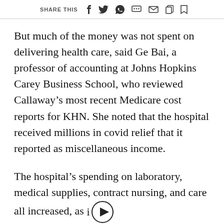SHARE THIS
But much of the money was not spent on delivering health care, said Ge Bai, a professor of accounting at Johns Hopkins Carey Business School, who reviewed Callaway’s most recent Medicare cost reports for KHN. She noted that the hospital received millions in covid relief that it reported as miscellaneous income.
The hospital’s spending on laboratory, medical supplies, contract nursing, and care all increased, as i…cted in a pandemic, Bai said. But she questioned other line-item cost increases.